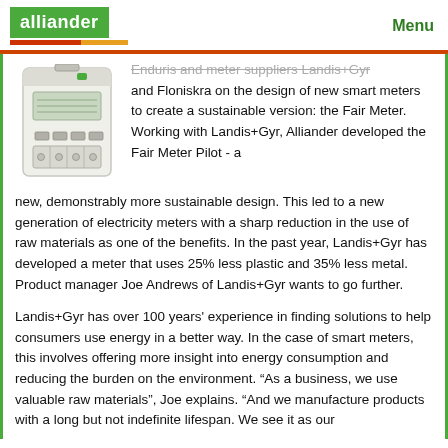alliander   Menu
[Figure (photo): White electricity smart meter device with green indicator light, standing upright]
Enduris and meter suppliers Landis+Gyr and Floniskra on the design of new smart meters to create a sustainable version: the Fair Meter. Working with Landis+Gyr, Alliander developed the Fair Meter Pilot - a new, demonstrably more sustainable design. This led to a new generation of electricity meters with a sharp reduction in the use of raw materials as one of the benefits. In the past year, Landis+Gyr has developed a meter that uses 25% less plastic and 35% less metal. Product manager Joe Andrews of Landis+Gyr wants to go further.
Landis+Gyr has over 100 years' experience in finding solutions to help consumers use energy in a better way. In the case of smart meters, this involves offering more insight into energy consumption and reducing the burden on the environment. “As a business, we use valuable raw materials”, Joe explains. “And we manufacture products with a long but not indefinite lifespan. We see it as our